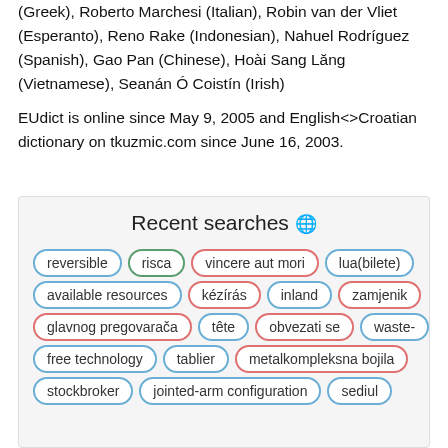(Greek), Roberto Marchesi (Italian), Robin van der Vliet (Esperanto), Reno Rake (Indonesian), Nahuel Rodríguez (Spanish), Gao Pan (Chinese), Hoài Sang Lăng (Vietnamese), Seanán Ó Coistín (Irish)
EUdict is online since May 9, 2005 and English<>Croatian dictionary on tkuzmic.com since June 16, 2003.
Recent searches 🌐
reversible
risca
vincere aut mori
lua(bilete)
available resources
kézírás
inland
zamjenik
glavnog pregovarača
tête
obvezati se
waste-free technology
tablier
metalkompleksna bojila
stockbroker
jointed-arm configuration
sediul